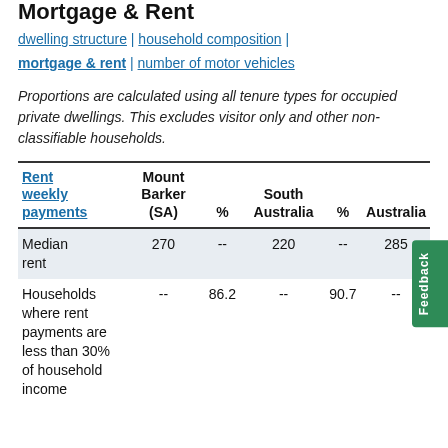Mortgage & Rent
dwelling structure | household composition | mortgage & rent | number of motor vehicles
Proportions are calculated using all tenure types for occupied private dwellings. This excludes visitor only and other non-classifiable households.
| Rent weekly payments | Mount Barker (SA) | % | South Australia | % | Australia |
| --- | --- | --- | --- | --- | --- |
| Median rent | 270 | -- | 220 | -- | 285 |
| Households where rent payments are less than 30% of household income | -- | 86.2 | -- | 90.7 | -- |